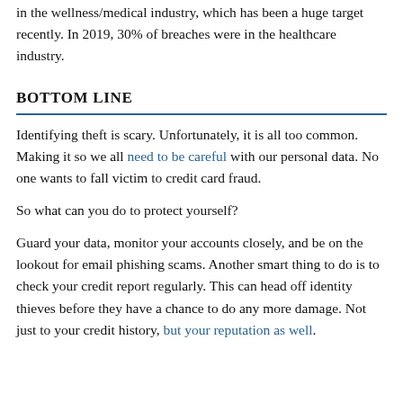in the wellness/medical industry, which has been a huge target recently. In 2019, 30% of breaches were in the healthcare industry.
BOTTOM LINE
Identifying theft is scary. Unfortunately, it is all too common. Making it so we all need to be careful with our personal data. No one wants to fall victim to credit card fraud.
So what can you do to protect yourself?
Guard your data, monitor your accounts closely, and be on the lookout for email phishing scams. Another smart thing to do is to check your credit report regularly. This can head off identity thieves before they have a chance to do any more damage. Not just to your credit history, but your reputation as well.